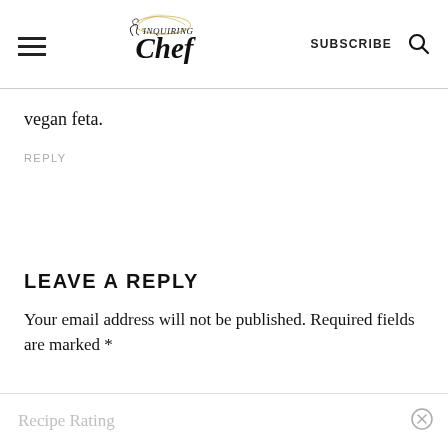Inquiring Chef — SUBSCRIBE
vegan feta.
REPLY
LEAVE A REPLY
Your email address will not be published. Required fields are marked *
Recipe Rating